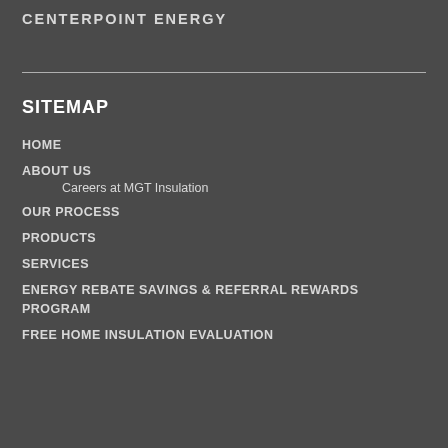CENTERPOINT ENERGY
SITEMAP
HOME
ABOUT US
    Careers at MGT Insulation
OUR PROCESS
PRODUCTS
SERVICES
ENERGY REBATE SAVINGS & REFERRAL REWARDS PROGRAM
FREE HOME INSULATION EVALUATION